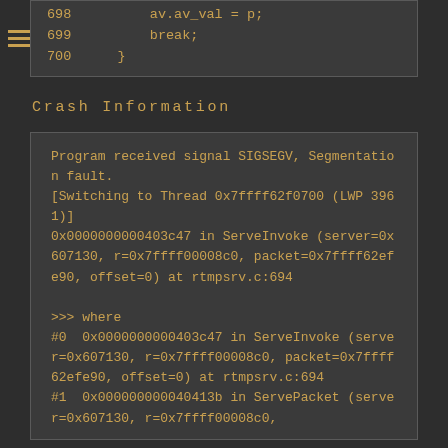[Figure (screenshot): Code snippet showing lines 698-700 with av.av_val = p; break; and closing brace]
Crash Information
[Figure (screenshot): GDB crash output showing SIGSEGV segmentation fault, thread switching, ServeInvoke call stack at rtmpsrv.c:694, and where command output showing #0 and #1 stack frames]